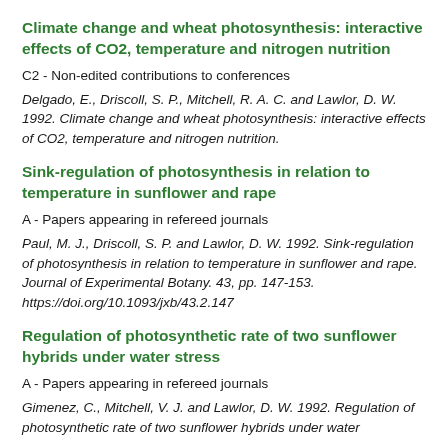Climate change and wheat photosynthesis: interactive effects of CO2, temperature and nitrogen nutrition
C2 - Non-edited contributions to conferences
Delgado, E., Driscoll, S. P., Mitchell, R. A. C. and Lawlor, D. W. 1992. Climate change and wheat photosynthesis: interactive effects of CO2, temperature and nitrogen nutrition.
Sink-regulation of photosynthesis in relation to temperature in sunflower and rape
A - Papers appearing in refereed journals
Paul, M. J., Driscoll, S. P. and Lawlor, D. W. 1992. Sink-regulation of photosynthesis in relation to temperature in sunflower and rape. Journal of Experimental Botany. 43, pp. 147-153. https://doi.org/10.1093/jxb/43.2.147
Regulation of photosynthetic rate of two sunflower hybrids under water stress
A - Papers appearing in refereed journals
Gimenez, C., Mitchell, V. J. and Lawlor, D. W. 1992. Regulation of photosynthetic rate of two sunflower hybrids under water